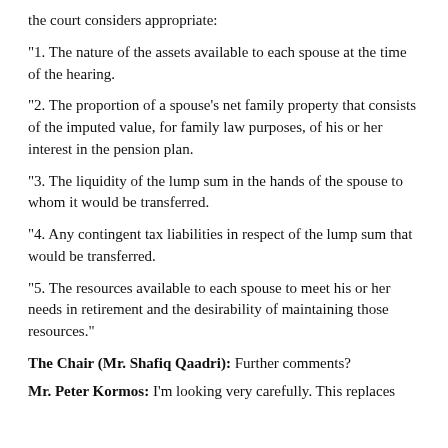the court considers appropriate:
"1. The nature of the assets available to each spouse at the time of the hearing.
"2. The proportion of a spouse's net family property that consists of the imputed value, for family law purposes, of his or her interest in the pension plan.
"3. The liquidity of the lump sum in the hands of the spouse to whom it would be transferred.
"4. Any contingent tax liabilities in respect of the lump sum that would be transferred.
"5. The resources available to each spouse to meet his or her needs in retirement and the desirability of maintaining those resources."
The Chair (Mr. Shafiq Qaadri): Further comments?
Mr. Peter Kormos: I'm looking very carefully. This replaces